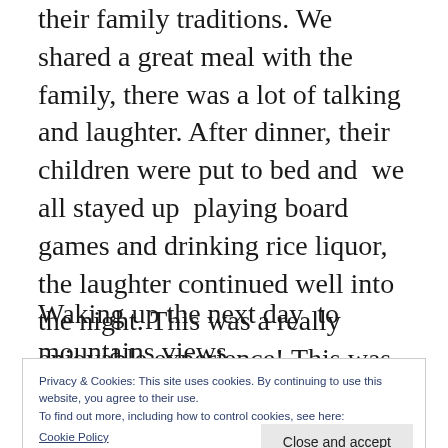their family traditions. We shared a great meal with the family, there was a lot of talking and laughter. After dinner, their children were put to bed and  we all stayed up  playing board games and drinking rice liquor, the laughter continued well into the night. This was a really enjoyable experience! This was my first homestay and I would do one again.
Waking up the next day  to mountains views
Privacy & Cookies: This site uses cookies. By continuing to use this website, you agree to their use.
To find out more, including how to control cookies, see here:
Cookie Policy
Close and accept